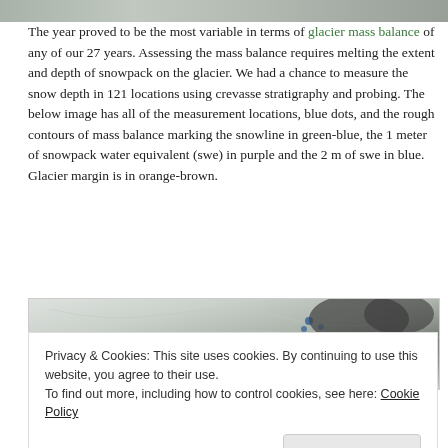[Figure (photo): Top portion of a glacier aerial/satellite photo, partially visible at the top of the page]
The year proved to be the most variable in terms of glacier mass balance of any of our 27 years. Assessing the mass balance requires melting the extent and depth of snowpack on the glacier. We had a chance to measure the snow depth in 121 locations using crevasse stratigraphy and probing. The below image has all of the measurement locations, blue dots, and the rough contours of mass balance marking the snowline in green-blue, the 1 meter of snowpack water equivalent (swe) in purple and the 2 m of swe in blue. Glacier margin is in orange-brown.
[Figure (photo): Aerial or satellite image of a glacier showing measurement locations as blue dots and mass balance contour lines in various colors (green-blue for snowline, purple for 1m swe, blue for 2m swe, orange-brown for glacier margin)]
Privacy & Cookies: This site uses cookies. By continuing to use this website, you agree to their use.
To find out more, including how to control cookies, see here: Cookie Policy